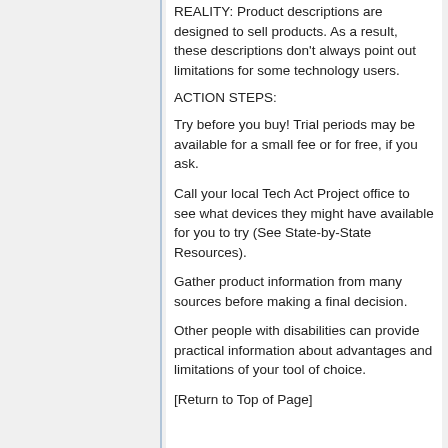REALITY: Product descriptions are designed to sell products. As a result, these descriptions don't always point out limitations for some technology users.
ACTION STEPS:
Try before you buy! Trial periods may be available for a small fee or for free, if you ask.
Call your local Tech Act Project office to see what devices they might have available for you to try (See State-by-State Resources).
Gather product information from many sources before making a final decision.
Other people with disabilities can provide practical information about advantages and limitations of your tool of choice.
[Return to Top of Page]